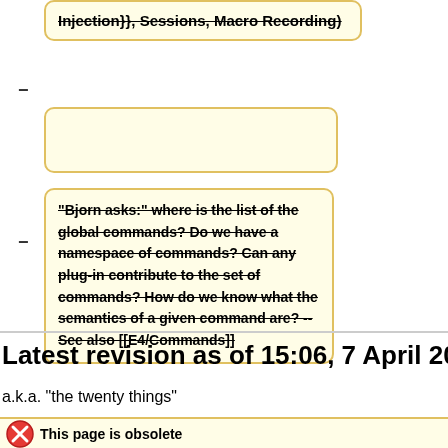Injection}}, Sessions, Macro Recording)
"Bjorn asks:" where is the list of the global commands? Do we have a namespace of commands? Can any plug-in contribute to the set of commands? How do we know what the semantics of a given command are? -- See also [[E4/Commands]]
Latest revision as of 15:06, 7 April 2011
a.k.a. "the twenty things"
This page is obsolete